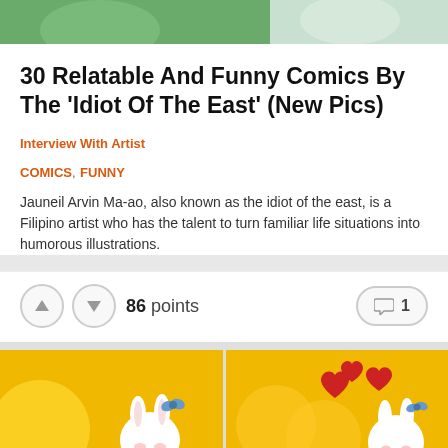[Figure (illustration): Top cropped illustration showing green background with cartoon characters]
30 Relatable And Funny Comics By The ‘Idiot Of The East’ (New Pics)
Interview With Artist
COMICS, FUNNY
Jauneil Arvin Ma-ao, also known as the idiot of the east, is a Filipino artist who has the talent to turn familiar life situations into humorous illustrations.
86 points
1
[Figure (illustration): Two side-by-side comic panels with yellow/golden background showing cute white bunny characters on golden circles]
[Figure (illustration): Right comic panel showing bunny character with red hearts floating above on yellow background with golden circles]